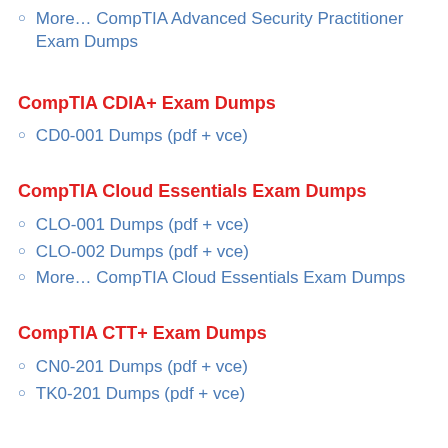More… CompTIA Advanced Security Practitioner Exam Dumps
CompTIA CDIA+ Exam Dumps
CD0-001 Dumps (pdf + vce)
CompTIA Cloud Essentials Exam Dumps
CLO-001 Dumps (pdf + vce)
CLO-002 Dumps (pdf + vce)
More… CompTIA Cloud Essentials Exam Dumps
CompTIA CTT+ Exam Dumps
CN0-201 Dumps (pdf + vce)
TK0-201 Dumps (pdf + vce)